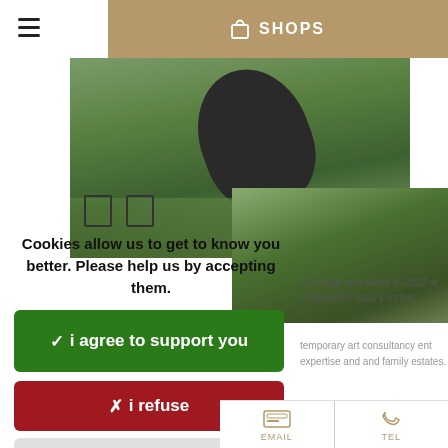SHOPS
[Figure (photo): Outdoor garden scene with dark megaphone/speaker sculpture on grass, taken at Chatsworth. Two photo panels shown.]
his image was taken in 2012 at Chatsworth 'usto, London.
Cookies allow us to get to know you better. Please help us by accepting them.
✓ i agree to support you
✗ i refuse
personalize
temporary art consultancy ent expertise and and family estates.
ttis Gallery, London;
Email  Tel